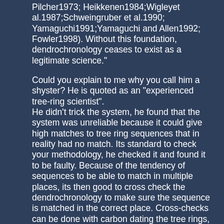Pilcher1973; Heikkenen1984;Wigleyet al.1987;Schweingruber et al.1990; Yamaguchi1991;Yamaguchi and Allen1992; Fowler1998). Without this foundation, dendrochronology ceases to exist as a legitimate science."
Could you explain to me why you call him a shyster? He is quoted as an "experienced tree-ring scientist". He didn't trick the system, he found that the system was unreliable because it could give high matches to tree ring sequences that in reality had no match. Its standard to check your methodology, he checked it and found it to be faulty. Because of the tendency of sequences to be able to match in multiple places, its then good to cross check the dendrochronology to make sure the sequence is matched in the correct place. Cross-checks can be done with carbon dating the tree rings, or matching frost rings in the tree with volcanic eruptions that have been Th-Ur dated. In this way everything appears correct, and the consilience is